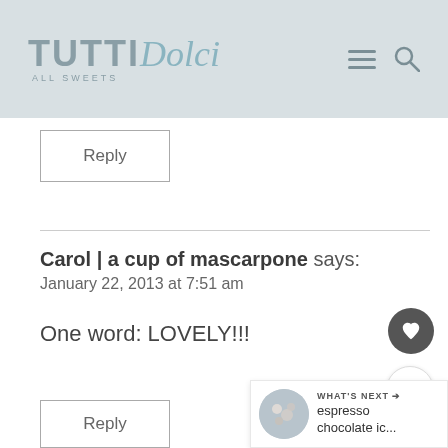TUTTI Dolci ALL SWEETS
Reply
Carol | a cup of mascarpone says: January 22, 2013 at 7:51 am
One word: LOVELY!!!
Reply
[Figure (other): What's Next promotional thumbnail for espresso chocolate ic...]